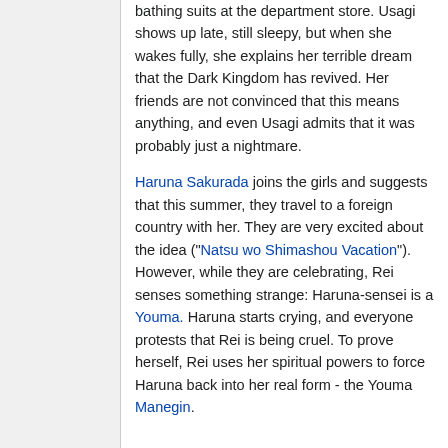bathing suits at the department store. Usagi shows up late, still sleepy, but when she wakes fully, she explains her terrible dream that the Dark Kingdom has revived. Her friends are not convinced that this means anything, and even Usagi admits that it was probably just a nightmare.
Haruna Sakurada joins the girls and suggests that this summer, they travel to a foreign country with her. They are very excited about the idea ("Natsu wo Shimashou Vacation"). However, while they are celebrating, Rei senses something strange: Haruna-sensei is a Youma. Haruna starts crying, and everyone protests that Rei is being cruel. To prove herself, Rei uses her spiritual powers to force Haruna back into her real form - the Youma Manegin.